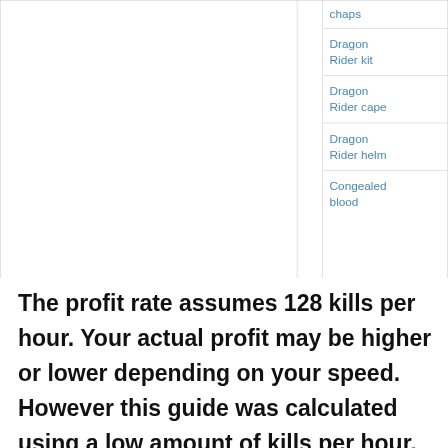|  | Item |
| --- | --- |
|  | chaps |
|  | Dragon Rider kit |
|  | Dragon Rider cape |
|  | Dragon Rider helm |
|  | Congealed blood |
The profit rate assumes 128 kills per hour. Your actual profit may be higher or lower depending on your speed. However this guide was calculated using a low amount of kills per hour, so players that can use better equipment, abilities, prayers, etc, should